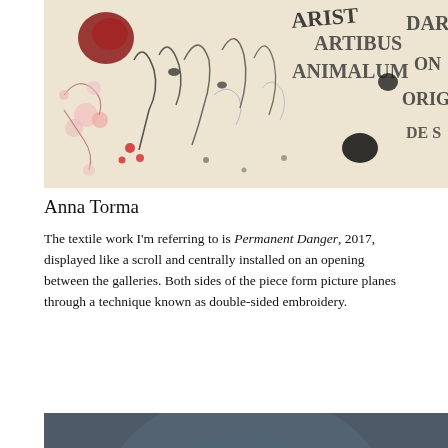[Figure (photo): Close-up photograph of a textile artwork with embroidered figures, text fragments including 'ARISTOTLE', 'ARTIBUS', 'ANIMALUM', 'DAR', 'ON', 'ORIG', 'DE S', and colorful hand-drawn style imagery with flowers and abstract forms on a light background.]
Anna Torma
The textile work I'm referring to is Permanent Danger, 2017, displayed like a scroll and centrally installed on an opening between the galleries. Both sides of the piece form picture planes through a technique known as double-sided embroidery.
[Figure (photo): Photograph of a dark metallic humanoid sculpture or figure against a grey-blue background, appearing robotic or android-like, with a stylized face and body.]